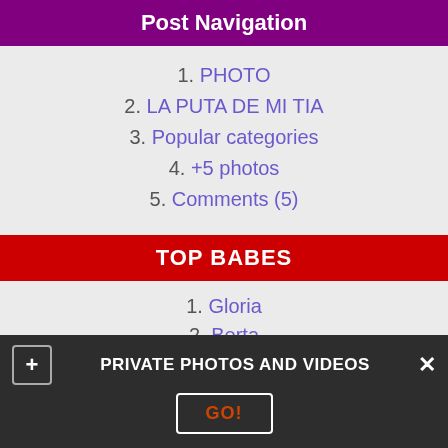Post Navigation
1. PHOTO
2. LA PUTA DE MI TIA
3. Popular categories
4. +5 photos
5. Comments (5)
TOP BABES
1. Gloria
2. Berta
3. Chloe
4. Olesya
5. Olga
POPULAR VIDEOS
PRIVATE PHOTOS AND VIDEOS
GO!